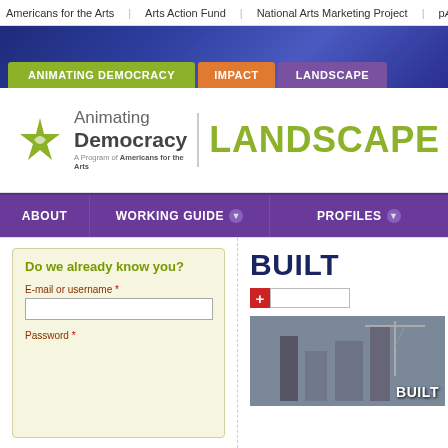Americans for the Arts | Arts Action Fund | National Arts Marketing Project | p...
[Figure (screenshot): Blue banner background with navigation tabs: ANIMATING DEMOCRACY (green), IMPACT (orange), LANDSCAPE (purple)]
[Figure (logo): Animating Democracy logo with star icon and text 'Animating Democracy - A Program of Americans for the Arts' followed by large green 'LANDSCAPE' text]
ABOUT | WORKING GUIDE | PROFILES
Do we already know you?
E-mail or username *
Password *
BUILT